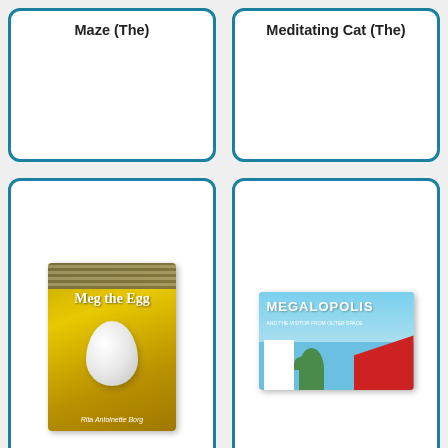[Figure (illustration): Partial book card for 'Maze (The)' — top of card visible with title only]
Maze (The)
[Figure (illustration): Partial book card for 'Meditating Cat (The)' — top of card visible with title only]
Meditating Cat (The)
[Figure (illustration): Book cover for 'Meg the Egg' by Rita Antoinette Borg — golden/yellow illustrated cover with a white egg and text 'Meg the Egg']
Meg the Egg
[Figure (illustration): Book cover for 'Megalopolis: And the Visitor From Outer Space' — illustrated cityscape with blue sky, white buildings, green dome, red rooftops]
Megalopolis: And the Visitor From Outer Space
[Figure (illustration): Partial book cover for 'The Mellops Go Spelunking' — dark cover with white text and circular emblem, partial figure on left]
[Figure (illustration): Partial book cover for 'The Mellops Strike Oil' — cream/tan cover with title text and lemon/wheel graphic on right side]